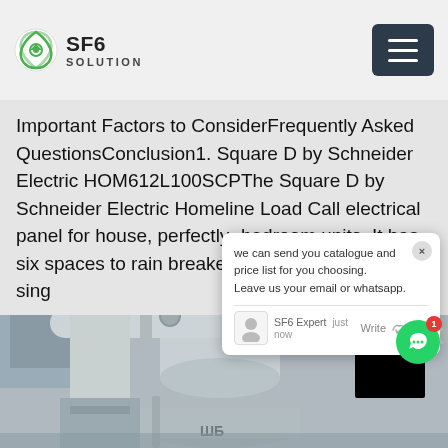SF6 SOLUTION
Important Factors to ConsiderFrequently Asked QuestionsConclusion1. Square D by Schneider Electric HOM612L100SCPThe Square D by Schneider Electric Homeline Load C...all electrical panel for house, perfectly ...bedroom units. It has six spaces to r...ain breaker and five double- or ten sing...
[Figure (screenshot): Chat popup overlay showing message: 'we can send you catalogue and price list for you choosing. Leave us your email or whatsapp.' with SF6 Expert agent shown as 'just now', with Write, thumbs up, and paperclip icons.]
[Figure (photo): Industrial electrical equipment photo showing large cylindrical pipes, valves, and electrical switchgear components in an outdoor industrial setting. Equipment appears to be SF6 gas insulated switchgear or similar high-voltage electrical infrastructure.]